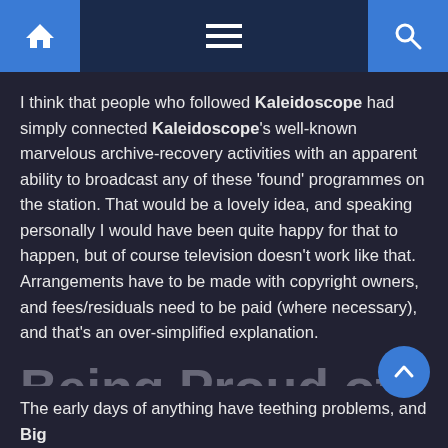Navigation bar with home, menu, and search icons
I think that people who followed Kaleidoscope had simply connected Kaleidoscope's well-known marvelous archive-recovery activities with an apparent ability to broadcast any of these 'found' programmes on the station. That would be a lovely idea, and speaking personally I would have been quite happy for that to happen, but of course television doesn't work like that. Arrangements have to be made with copyright owners, and fees/residuals need to be paid (where necessary), and that's an over-simplified explanation.
Being Proud of Big Centre
The early days of anything have teething problems, and Big